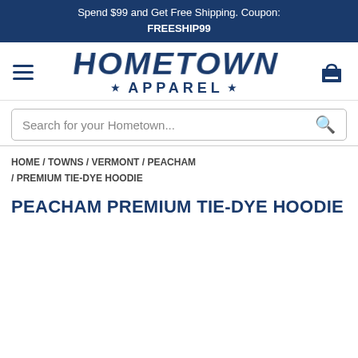Spend $99 and Get Free Shipping. Coupon: FREESHIP99
[Figure (logo): Hometown Apparel logo with hamburger menu and shopping cart icons]
Search for your Hometown...
HOME / TOWNS / VERMONT / PEACHAM / PREMIUM TIE-DYE HOODIE
PEACHAM PREMIUM TIE-DYE HOODIE